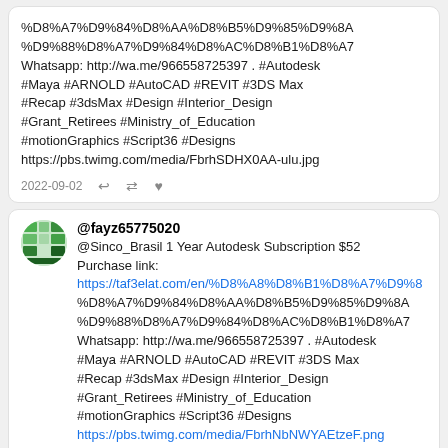%D8%A7%D9%84%D8%AA%D8%B5%D9%85%D9%8A
%D9%88%D8%A7%D9%84%D8%AC%D8%B1%D8%A7
Whatsapp: http://wa.me/966558725397 . #Autodesk #Maya #ARNOLD #AutoCAD #REVIT #3DS Max #Recap #3dsMax #Design #Interior_Design #Grant_Retirees #Ministry_of_Education #motionGraphics #Script36 #Designs
https://pbs.twimg.com/media/FbrhSDHX0AA-ulu.jpg
2022-09-02
@fayz65775020
@Sinco_Brasil 1 Year Autodesk Subscription $52
Purchase link:
https://taf3elat.com/en/%D8%A8%D8%B1%D8%A7%D9%8
%D8%A7%D9%84%D8%AA%D8%B5%D9%85%D9%8A
%D9%88%D8%A7%D9%84%D8%AC%D8%B1%D8%A7
Whatsapp: http://wa.me/966558725397 . #Autodesk #Maya #ARNOLD #AutoCAD #REVIT #3DS Max #Recap #3dsMax #Design #Interior_Design #Grant_Retirees #Ministry_of_Education #motionGraphics #Script36 #Designs
https://pbs.twimg.com/media/FbrhNbNWYAEtzeF.png
2022-09-02